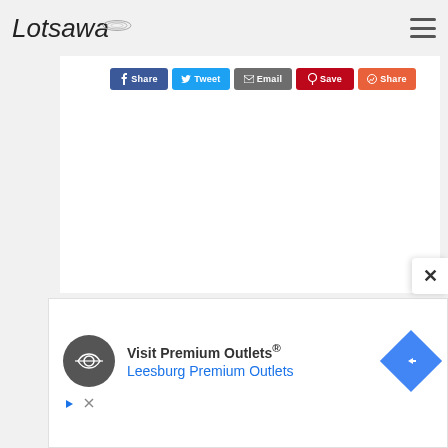Lotsawa
[Figure (screenshot): Social share buttons row: Facebook (blue), Twitter (light blue), Email (gray), Pinterest (red), WhatsApp/share (orange-red)]
[Figure (screenshot): Advertisement panel for Visit Premium Outlets / Leesburg Premium Outlets with circular logo and navigation arrow icon, play and close controls at bottom]
Visit Premium Outlets®
Leesburg Premium Outlets